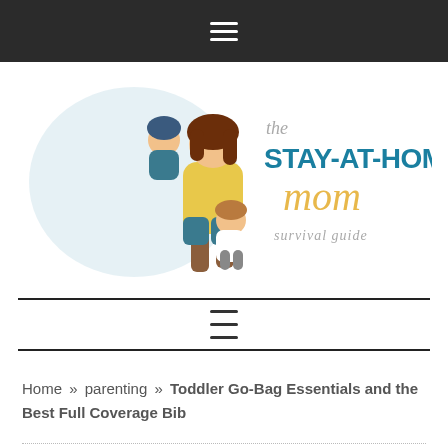☰ (hamburger menu icon)
[Figure (logo): The Stay-At-Home Mom Survival Guide logo with illustrated woman holding two children and stylized text]
Home » parenting » Toddler Go-Bag Essentials and the Best Full Coverage Bib